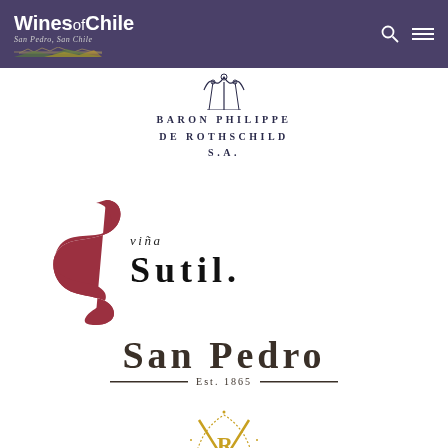Wines of Chile — San Pedro, San Chile (tagline)
[Figure (logo): Baron Philippe de Rothschild S.A. logo with decorative emblem on top]
[Figure (logo): Viña Sutil logo with large red S-curl mark and text 'VIÑA SUTIL.']
[Figure (logo): San Pedro Est. 1865 logo in dark serif lettering with horizontal rules]
[Figure (logo): Partial VR emblem logo in gold at the bottom of the page]